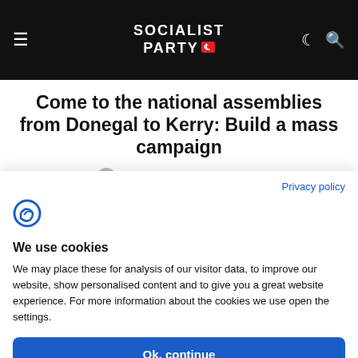SOCIALIST PARTY
Come to the national assemblies from Donegal to Kerry: Build a mass campaign
UNCATEGORIZED · BY SOCIALIST PARTY · JAN 18, 2012
2 MINUTE READ
Privacy policy
We use cookies
We may place these for analysis of our visitor data, to improve our website, show personalised content and to give you a great website experience. For more information about the cookies we use open the settings.
Ok, continue
Deny
No, adjust